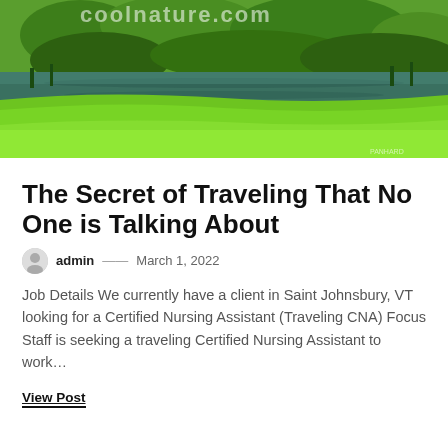[Figure (photo): Lush green landscape with a calm river or pond reflecting the greenery, bright green grass in the foreground with plants and trees along the water's edge. Watermarked text visible at the top.]
The Secret of Traveling That No One is Talking About
admin — March 1, 2022
Job Details We currently have a client in Saint Johnsbury, VT looking for a Certified Nursing Assistant (Traveling CNA) Focus Staff is seeking a traveling Certified Nursing Assistant to work…
View Post